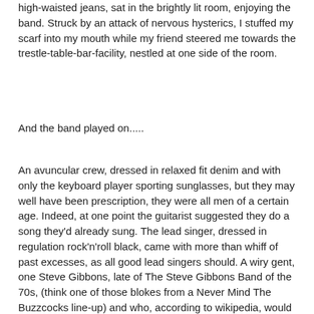high-waisted jeans, sat in the brightly lit room, enjoying the band. Struck by an attack of nervous hysterics, I stuffed my scarf into my mouth while my friend steered me towards the trestle-table-bar-facility, nestled at one side of the room.
And the band played on.....
An avuncular crew, dressed in relaxed fit denim and with only the keyboard player sporting sunglasses, but they may well have been prescription, they were all men of a certain age. Indeed, at one point the guitarist suggested they do a song they'd already sung. The lead singer, dressed in regulation rock'n'roll black, came with more than whiff of past excesses, as all good lead singers should. A wiry gent, one Steve Gibbons, late of The Steve Gibbons Band of the 70s, (think one of those blokes from a Never Mind The Buzzcocks line-up) and who, according to wikipedia, would most definitely have a few tales to tell about the glory years, blew with confidence into his array of harmonicas. They were indeed a competent team and a good deal more coherent than Bob ever is, choosing, it seemed, songs mainly from his